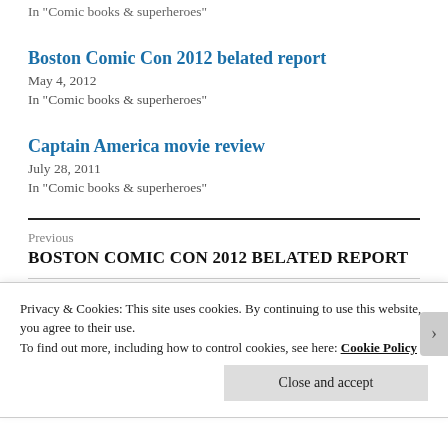In "Comic books & superheroes"
Boston Comic Con 2012 belated report
May 4, 2012
In "Comic books & superheroes"
Captain America movie review
July 28, 2011
In "Comic books & superheroes"
Previous
BOSTON COMIC CON 2012 BELATED REPORT
Next
Privacy & Cookies: This site uses cookies. By continuing to use this website, you agree to their use.
To find out more, including how to control cookies, see here: Cookie Policy